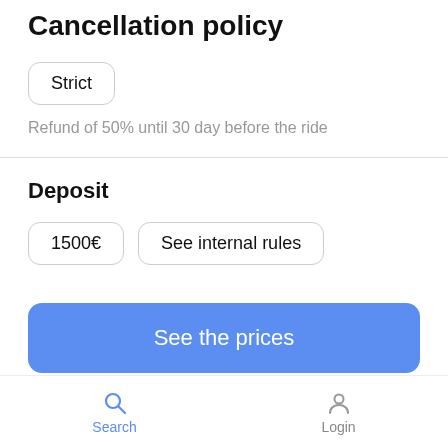Cancellation policy
Strict
Refund of 50% until 30 day before the ride
Deposit
1500€
See internal rules
See the prices
Location
Search   Login